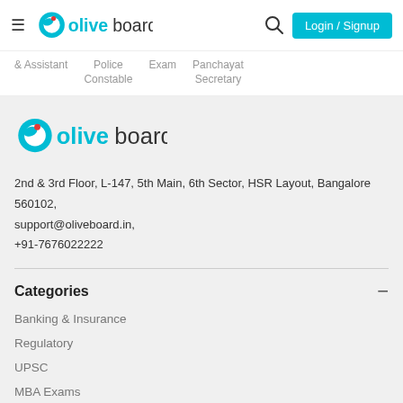[Figure (logo): Oliveboard logo in header with hamburger menu, search icon, and Login/Signup button]
& Assistant   Police Constable   Exam   Panchayat Secretary
[Figure (logo): Oliveboard logo in footer section]
2nd & 3rd Floor, L-147, 5th Main, 6th Sector, HSR Layout, Bangalore 560102, support@oliveboard.in, +91-7676022222
Categories
Banking & Insurance
Regulatory
UPSC
MBA Exams
SSC Exams
Railway Exams